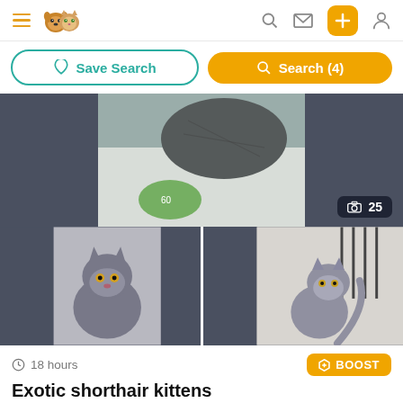Navigation header with hamburger menu, pet logo, search, message, add, and profile icons
Save Search | Search (4)
[Figure (photo): Photo gallery of exotic shorthair kittens - top row showing a grey cat lying on white fabric with green item, with photo count badge showing camera icon and 25. Bottom row showing two grey exotic shorthair kittens sitting upright.]
18 hours
BOOST
Exotic shorthair kittens
£650
Exotic • Age: 13 Weeks • 1 Male / 3 Female